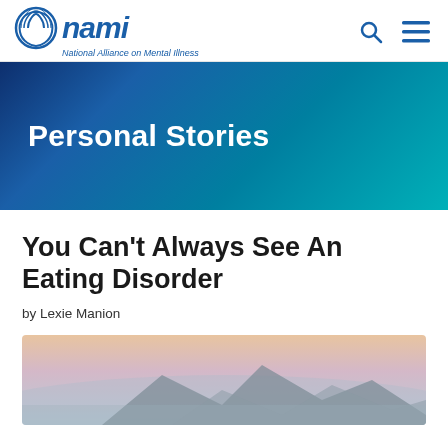NAMI - National Alliance on Mental Illness
Personal Stories
You Can't Always See An Eating Disorder
by Lexie Manion
[Figure (photo): Mountain silhouette against a hazy sky with warm pastel tones of orange and purple]